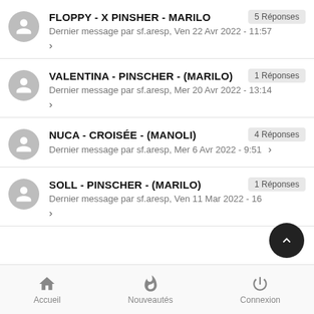FLOPPY - X PINSHER - MARILO | 5 Réponses | Dernier message par sf.aresp, Ven 22 Avr 2022 - 11:57
VALENTINA - PINSCHER - (MARILO) | 1 Réponses | Dernier message par sf.aresp, Mer 20 Avr 2022 - 13:14
NUCA - CROISÉE - (MANOLI) | 4 Réponses | Dernier message par sf.aresp, Mer 6 Avr 2022 - 9:51
SOLL - PINSCHER - (MARILO) | 1 Réponses | Dernier message par sf.aresp, Ven 11 Mar 2022 - 16...
Accueil | Nouveautés | Connexion